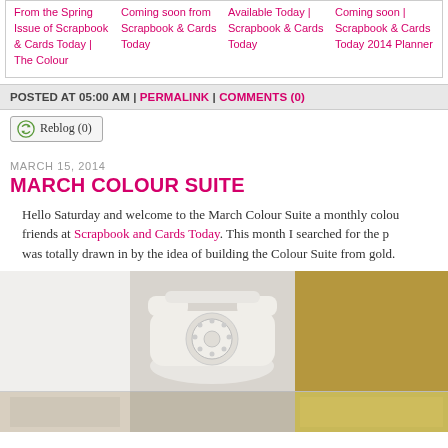From the Spring Issue of Scrapbook & Cards Today | The Colour
Coming soon from Scrapbook & Cards Today
Available Today | Scrapbook & Cards Today
Coming soon | Scrapbook & Cards Today 2014 Planner
POSTED AT 05:00 AM | PERMALINK | COMMENTS (0)
Reblog (0)
MARCH 15, 2014
MARCH COLOUR SUITE
Hello Saturday and welcome to the March Colour Suite a monthly colour friends at Scrapbook and Cards Today. This month I searched for the perfect colour and was totally drawn in by the idea of building the Colour Suite from gold.
[Figure (photo): White blank image placeholder]
[Figure (photo): White rotary telephone photograph]
[Figure (photo): Gold/tan solid color swatch]
[Figure (photo): Bottom row partial images]
[Figure (photo): Bottom row partial image center]
[Figure (photo): Bottom row partial image right]